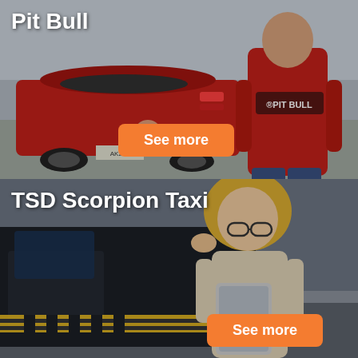[Figure (photo): Man in red Pit Bull hoodie standing next to a red Ford Mustang in a parking lot, darkened overlay]
Pit Bull
See more
[Figure (photo): Blonde woman with glasses holding a tablet, standing near a taxi cab door with yellow markings, darkened overlay]
TSD Scorpion Taxi
See more